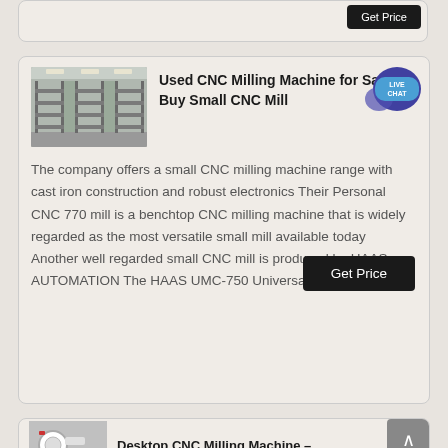[Figure (screenshot): Partially visible product card with a Get Price button at top]
[Figure (photo): Warehouse interior with shelving and overhead lighting]
Used CNC Milling Machine for Sale | Buy Small CNC Mill
The company offers a small CNC milling machine range with cast iron construction and robust electronics Their Personal CNC 770 mill is a benchtop CNC milling machine that is widely regarded as the most versatile small mill available today Another well regarded small CNC mill is produced by HAAS AUTOMATION The HAAS UMC-750 Universal Machining ,
[Figure (screenshot): Desktop CNC Milling Machine partial card at bottom of page]